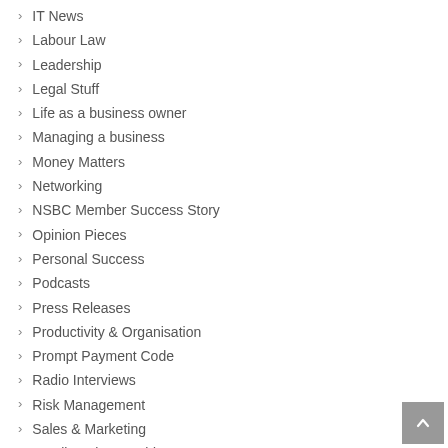IT News
Labour Law
Leadership
Legal Stuff
Life as a business owner
Managing a business
Money Matters
Networking
NSBC Member Success Story
Opinion Pieces
Personal Success
Podcasts
Press Releases
Productivity & Organisation
Prompt Payment Code
Radio Interviews
Risk Management
Sales & Marketing
Small Business Friday
SME Events
SME News
Social Media